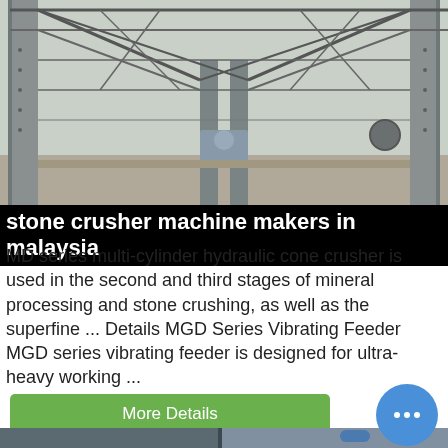[Figure (photo): Industrial steel framework structure of a stone crushing plant, viewed from inside looking up at the truss roof, with open sides and arid landscape visible in background.]
stone crusher machine makers in malaysia
MD series multi-cylinder hydraulic cone crusher is used in the second and third stages of mineral processing and stone crushing, as well as the superfine ... Details MGD Series Vibrating Feeder MGD series vibrating feeder is designed for ultra-heavy working ...
More Details
[Figure (photo): Interior of an industrial building or factory showing structural elements, with a blue pipe visible on the right side and a chat/messenger button overlay in the bottom right corner.]